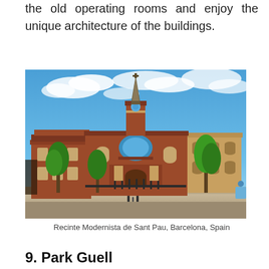the old operating rooms and enjoy the unique architecture of the buildings.
[Figure (photo): Exterior view of Recinte Modernista de Sant Pau in Barcelona, Spain. A grand red-brick Modernista building with an ornate central tower and spire, flanked by palm trees, under a bright blue sky with clouds.]
Recinte Modernista de Sant Pau, Barcelona, Spain
9. Park Guell